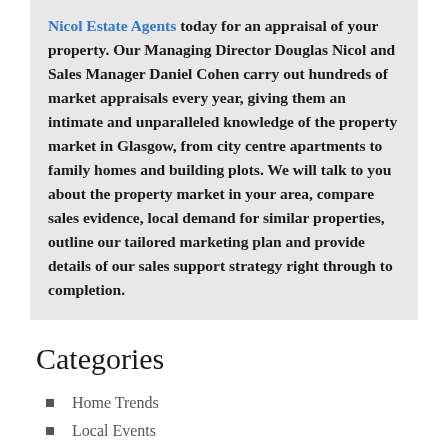Nicol Estate Agents today for an appraisal of your property. Our Managing Director Douglas Nicol and Sales Manager Daniel Cohen carry out hundreds of market appraisals every year, giving them an intimate and unparalleled knowledge of the property market in Glasgow, from city centre apartments to family homes and building plots. We will talk to you about the property market in your area, compare sales evidence, local demand for similar properties, outline our tailored marketing plan and provide details of our sales support strategy right through to completion.
Categories
Home Trends
Local Events